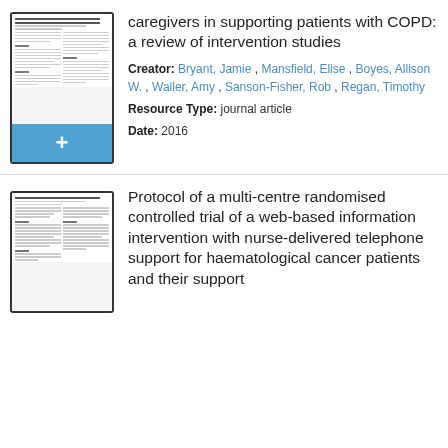[Figure (screenshot): Thumbnail of a journal article page with a blue plus button below]
caregivers in supporting patients with COPD: a review of intervention studies
Creator: Bryant, Jamie , Mansfield, Elise , Boyes, Allison W. , Waller, Amy , Sanson-Fisher, Rob , Regan, Timothy
Resource Type: journal article
Date: 2016
[Figure (screenshot): Thumbnail of a second journal article page]
Protocol of a multi-centre randomised controlled trial of a web-based information intervention with nurse-delivered telephone support for haematological cancer patients and their support